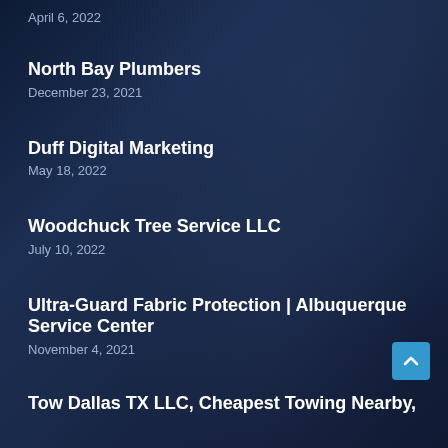April 6, 2022
North Bay Plumbers
December 23, 2021
Duff Digital Marketing
May 18, 2022
Woodchuck Tree Service LLC
July 10, 2022
Ultra-Guard Fabric Protection | Albuquerque Service Center
November 4, 2021
Tow Dallas TX LLC, Cheapest Towing Nearby,